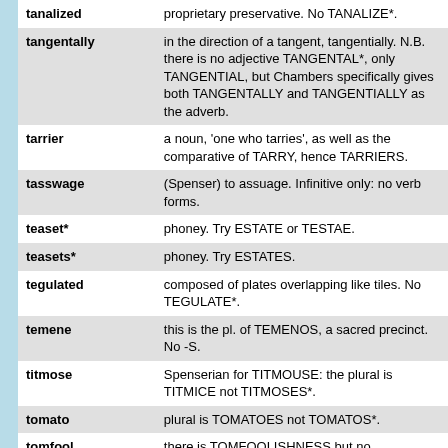| Term | Definition |
| --- | --- |
| tanalized | proprietary preservative. No TANALIZE*. |
| tangentally | in the direction of a tangent, tangentially. N.B. there is no adjective TANGENTAL*, only TANGENTIAL, but Chambers specifically gives both TANGENTALLY and TANGENTIALLY as the adverb. |
| tarrier | a noun, 'one who tarries', as well as the comparative of TARRY, hence TARRIERS. |
| tasswage | (Spenser) to assuage. Infinitive only: no verb forms. |
| teaset* | phoney. Try ESTATE or TESTAE. |
| teasets* | phoney. Try ESTATES. |
| tegulated | composed of plates overlapping like tiles. No TEGULATE*. |
| temene | this is the pl. of TEMENOS, a sacred precinct. No -S. |
| titmose | Spenserian for TITMOUSE: the plural is TITMICE not TITMOSES*. |
| tomato | plural is TOMATOES not TOMATOS*. |
| tomfool | there is TOMFOOLISHNESS but no TOMFOOLISH*. |
|  | (Spenser) to toss. Infinitive only: no |